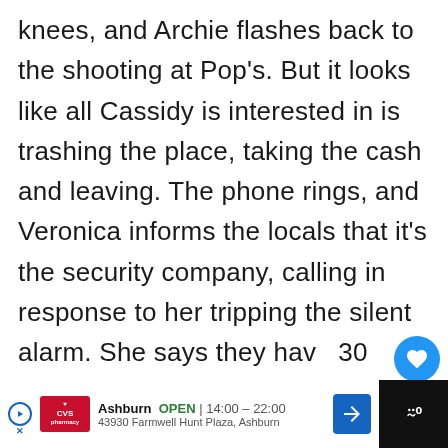knees, and Archie flashes back to the shooting at Pop's. But it looks like all Cassidy is interested in is trashing the place, taking the cash and leaving. The phone rings, and Veronica informs the locals that it's the security company, calling in response to her tripping the silent alarm. She says they have 30 seconds to run before the armed guard show up. Cassidy calls Veronica a "rich bitch" and rips a locket from her neck and takes foot.
[Figure (screenshot): UI overlay showing heart/like button (blue circle), share icon, and a 'What's Next' recommendation card for 'Mystery Ranch: Everything You Need to...']
[Figure (infographic): Advertisement bar at bottom: CVS Pharmacy in Ashburn, OPEN 14:00-22:00, 43930 Farmwell Hunt Plaza, Ashburn]